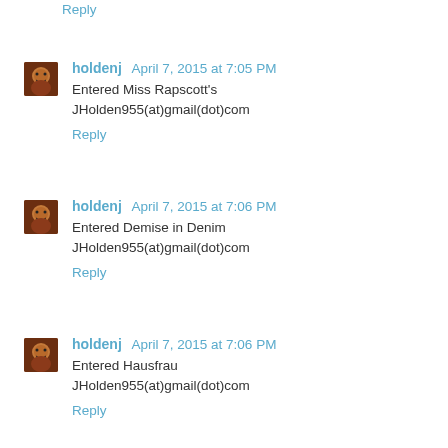Reply
holdenj April 7, 2015 at 7:05 PM
Entered Miss Rapscott's
JHolden955(at)gmail(dot)com
Reply
holdenj April 7, 2015 at 7:06 PM
Entered Demise in Denim
JHolden955(at)gmail(dot)com
Reply
holdenj April 7, 2015 at 7:06 PM
Entered Hausfrau
JHolden955(at)gmail(dot)com
Reply